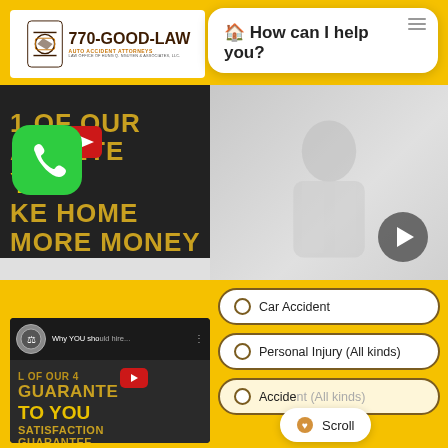[Figure (logo): 770-GOOD-LAW Auto Accident Attorneys logo with gavel icon]
🏠 How can I help you?
[Figure (screenshot): Video thumbnail with text: 1 OF OUR ARANTE YOU KE HOME MORE MONEY with YouTube play button]
[Figure (screenshot): Video thumbnail showing attorney in suit with play button overlay]
[Figure (screenshot): Second video: Why YOU should hire... - L OF OUR 4 GUARANTEE TO YOU SATISFACTION GUARANTEE]
Car Accident
Personal Injury (All kinds)
Accident (All kinds)
Scroll